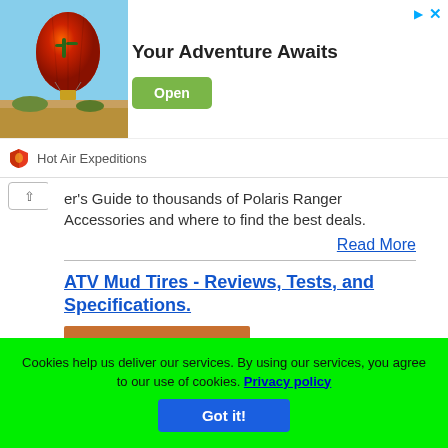[Figure (photo): Advertisement banner: hot air balloon photo on left, 'Your Adventure Awaits' headline, Open button, Hot Air Expeditions brand logo]
er's Guide to thousands of Polaris Ranger Accessories and where to find the best deals.
Read More
ATV Mud Tires - Reviews, Tests, and Specifications.
[Figure (photo): ATV vehicle covered in red mud, riding through muddy terrain]
Cookies help us deliver our services. By using our services, you agree to our use of cookies. Privacy policy Got it!